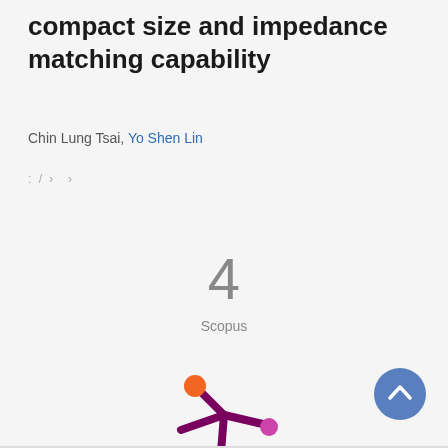compact size and impedance matching capability
Chin Lung Tsai, Yo Shen Lin
: / › ›
4
Scopus
[Figure (logo): Altmetric logo — a star-shaped icon with orange, purple, and pink circles on purple arms]
[Figure (other): Blue circular scroll-to-top button with upward chevron arrow]